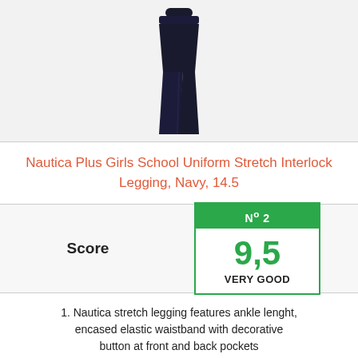[Figure (photo): Dark navy blue stretch leggings/pants product photo on white background]
Nautica Plus Girls School Uniform Stretch Interlock Legging, Navy, 14.5
|  | Score |
| --- | --- |
| Score | Nº 2
9,5
VERY GOOD |
1. Nautica stretch legging features ankle lenght, encased elastic waistband with decorative button at front and back pockets
2. Super soft stretch fabric that can be pull-on with minimal effort to deliver all-day comfort